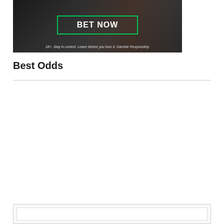[Figure (photo): Banner advertisement showing a horse racing image with dark background and a green-bordered 'BET NOW' button in the center. Text at the bottom reads: 18+. Stay in control. Leave before you lose it. Gamble Responsibly.]
Best Odds